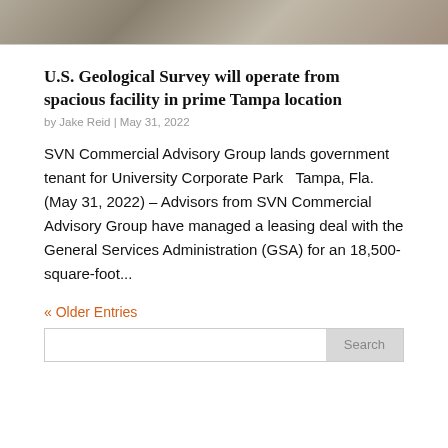[Figure (photo): Aerial or overhead photo of a paved road or surface with faded markings, gray tones]
U.S. Geological Survey will operate from spacious facility in prime Tampa location
by Jake Reid | May 31, 2022
SVN Commercial Advisory Group lands government tenant for University Corporate Park   Tampa, Fla. (May 31, 2022) – Advisors from SVN Commercial Advisory Group have managed a leasing deal with the General Services Administration (GSA) for an 18,500-square-foot...
« Older Entries